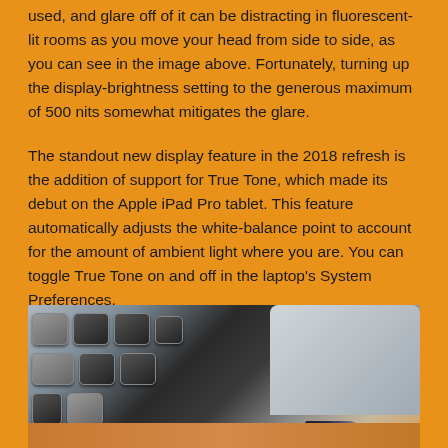used, and glare off of it can be distracting in fluorescent-lit rooms as you move your head from side to side, as you can see in the image above. Fortunately, turning up the display-brightness setting to the generous maximum of 500 nits somewhat mitigates the glare.
The standout new display feature in the 2018 refresh is the addition of support for True Tone, which made its debut on the Apple iPad Pro tablet. This feature automatically adjusts the white-balance point to account for the amount of ambient light where you are. You can toggle True Tone on and off in the laptop's System Preferences.
[Figure (photo): Close-up photo of a MacBook keyboard corner with an iTouch ID USB dongle inserted into a port, resting on a wooden surface.]